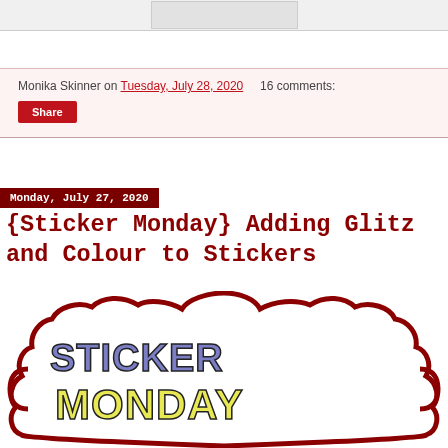[Figure (photo): Partial top image strip showing a cropped photograph]
Monika Skinner on Tuesday, July 28, 2020    16 comments:
Share
Monday, July 27, 2020
{Sticker Monday} Adding Glitz and Colour to Stickers
[Figure (illustration): Sticker Monday graphic with decorative frame border in dark red and large text reading STICKER MONDAY in colorful block letters]